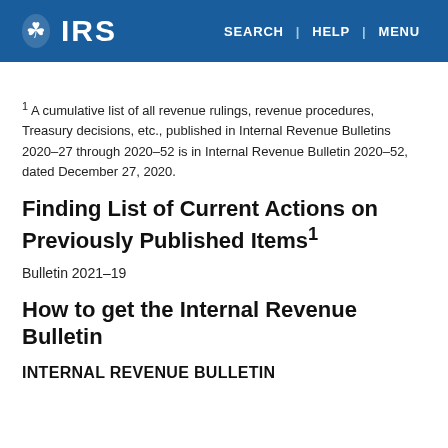IRS | SEARCH | HELP | MENU
1 A cumulative list of all revenue rulings, revenue procedures, Treasury decisions, etc., published in Internal Revenue Bulletins 2020–27 through 2020–52 is in Internal Revenue Bulletin 2020–52, dated December 27, 2020.
Finding List of Current Actions on Previously Published Items1
Bulletin 2021–19
How to get the Internal Revenue Bulletin
INTERNAL REVENUE BULLETIN